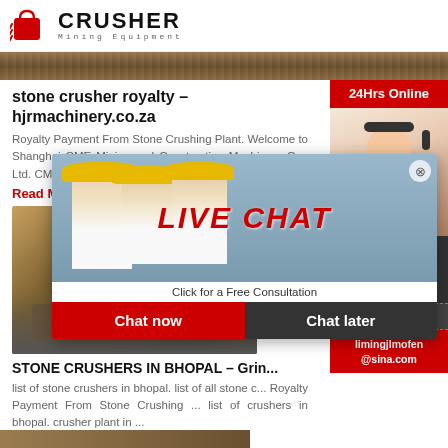CRUSHER Mining Equipment
[Figure (photo): Top strip image of mining/crushed stone materials]
stone crusher royalty – hjrmachinery.co.za
Royalty Payment From Stone Crushing Plant. Welcome to Shanghai CME Mining and Construction Machinery Co., Ltd. CME is one of the biggest manufacturer in crush...
Read More
[Figure (photo): Mining plant/stone crusher facility photo]
[Figure (screenshot): Live chat popup overlay with workers in hard hats, LIVE CHAT text, Click for a Free Consultation, Chat now and Chat later buttons]
STONE CRUSHERS IN BHOPAL – Grin...
list of stone crushers in bhopal. list of all stone c... Royalty Payment From Stone Crushing ... list of crushers in bhopal. crusher plant in ...
Read More
[Figure (screenshot): Right sidebar: 24Hrs Online banner, customer service photo with headset, Need questions & suggestion?, Chat Now button, Enquiry, limingjlmofen@sina.com]
[Figure (photo): Bottom strip image showing stone crusher facility]